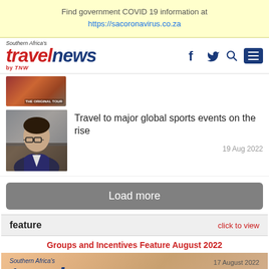Find government COVID 19 information at https://sacoronavirus.co.za
[Figure (logo): Southern Africa's travelnews by TNW logo with navigation icons (Facebook, Twitter, Search, Menu)]
[Figure (photo): Small thumbnail image of a tour-related photo]
[Figure (photo): Portrait photo of a woman with glasses]
Travel to major global sports events on the rise
19 Aug 2022
Load more
feature
click to view
Groups and Incentives Feature August 2022
[Figure (screenshot): Southern Africa's travelnews magazine cover dated 17 August 2022 with orange/peach background showing the travelnews logo]